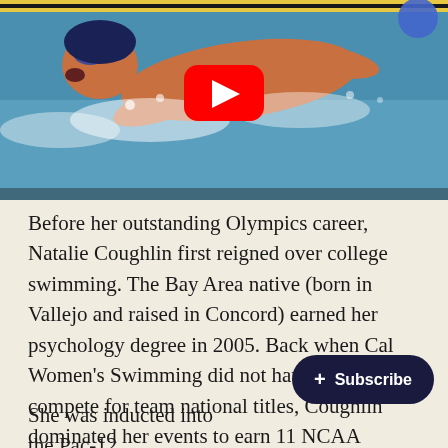[Figure (photo): Swimmer performing butterfly stroke in a pool, with yellow lane lines visible in the background. A YouTube play button overlay is visible in the top center.]
Before her outstanding Olympics career, Natalie Coughlin first reigned over college swimming. The Bay Area native (born in Vallejo and raised in Concord) earned her psychology degree in 2005. Back when Cal Women's Swimming did not have the depth to compete for team national titles, Coughlin dominated her events to earn 11 NCAA individual titles - 4 in 100y Back, 4 in 100y Fly, and 3 in 200y Back.
She was inducted into the Pac-12 ... in 2019.